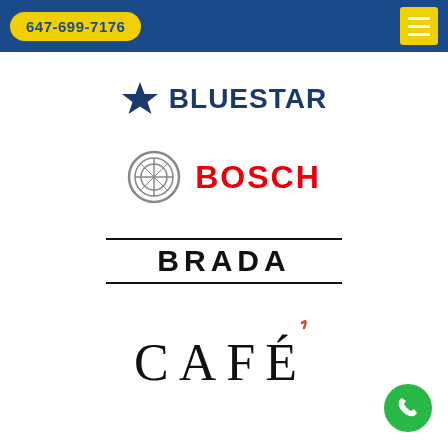647-699-7176
[Figure (logo): BlueStar brand logo with navy star icon and bold navy BLUESTAR text]
[Figure (logo): Bosch brand logo with circular gear emblem in gray and red bold BOSCH text]
[Figure (logo): BRADA brand logo with bold black text between two horizontal rules]
[Figure (logo): CAFÉ brand logo in serif font with accent mark on the E, partially visible]